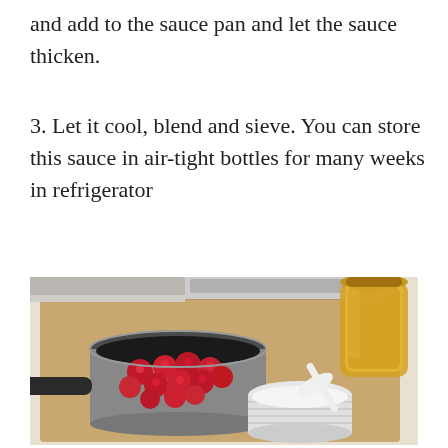and add to the sauce pan and let the sauce thicken.
3. Let it cool, blend and sieve. You can store this sauce in air-tight bottles for many weeks in refrigerator
.
[Figure (photo): A wooden cutting board with a silver saucepan filled with fresh raspberries, a white ramekin with a white spoon containing a white substance (likely sugar or starch), and a glass jar of honey or syrup in the background.]